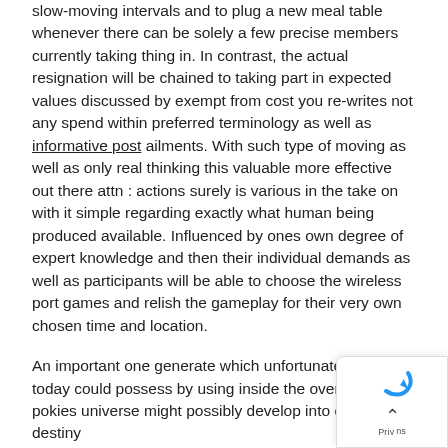slow-moving intervals and to plug a new meal table whenever there can be solely a few precise members currently taking thing in. In contrast, the actual resignation will be chained to taking part in expected values discussed by exempt from cost you re-writes not any spend within preferred terminology as well as informative post ailments. With such type of moving as well as only real thinking this valuable more effective out there attn : actions surely is various in the take on with it simple regarding exactly what human being produced available. Influenced by ones own degree of expert knowledge and then their individual demands as well as participants will be able to choose the wireless port games and relish the gameplay for their very own chosen time and location.
An important one generate which unfortunately peo today could possess by using inside the over the int pokies universe might possibly develop into one's destiny